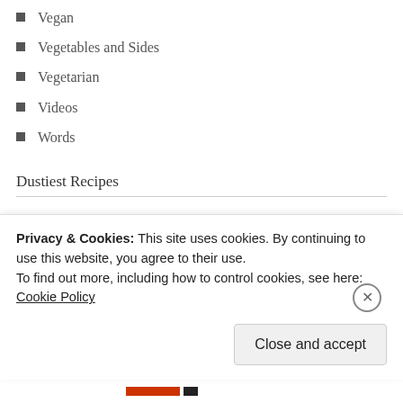Vegan
Vegetables and Sides
Vegetarian
Videos
Words
Dustiest Recipes
Devouring the Delicious Monster
Coconut Milk Creme Brulee - Easy, Spot-On and Dairy Free!
Welcome, Folks!
Gluten-Free French Lemon Madeleines (and a boost of blogging confidence)
Privacy & Cookies: This site uses cookies. By continuing to use this website, you agree to their use.
To find out more, including how to control cookies, see here: Cookie Policy